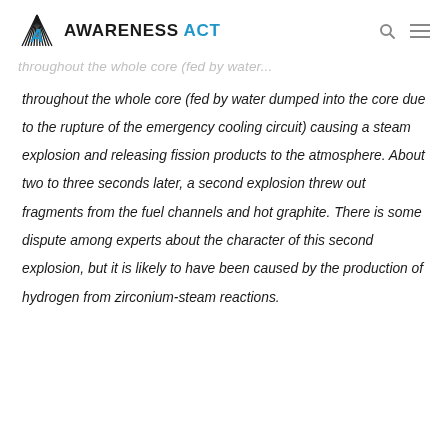AWARENESS ACT
throughout the whole core (fed by water dumped into the core due to the rupture of the emergency cooling circuit) causing a steam explosion and releasing fission products to the atmosphere. About two to three seconds later, a second explosion threw out fragments from the fuel channels and hot graphite. There is some dispute among experts about the character of this second explosion, but it is likely to have been caused by the production of hydrogen from zirconium-steam reactions.